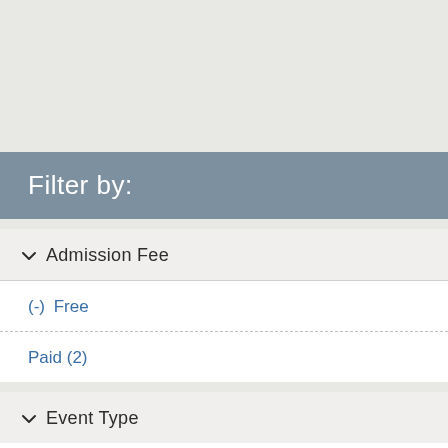Filter by:
Admission Fee
(-) Free
Paid (2)
Event Type
(-) Lectures
Conference (5)